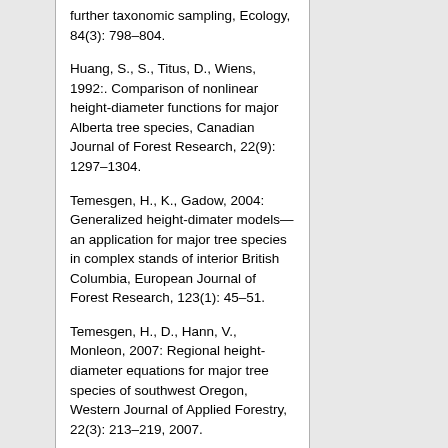further taxonomic sampling, Ecology, 84(3): 798–804.
Huang, S., S., Titus, D., Wiens, 1992:. Comparison of nonlinear height-diameter functions for major Alberta tree species, Canadian Journal of Forest Research, 22(9): 1297–1304.
Temesgen, H., K., Gadow, 2004: Generalized height-dimater models—an application for major tree species in complex stands of interior British Columbia, European Journal of Forest Research, 123(1): 45–51.
Temesgen, H., D., Hann, V., Monleon, 2007: Regional height-diameter equations for major tree species of southwest Oregon, Western Journal of Applied Forestry, 22(3): 213–219, 2007.
Toivonen, H., H., Mannila, A., Korhola, H., Olander, 2001: Applying Bayesian statistics to organism-based environmental reconstruction, Ecological Applications, 11(2): 618–630.
Van Laar, A., A., Akça, 2007: Forest mensuration. Springer, Dordrecht, 384 p, The Netherlands.
Wyckoff, P., J., Clark, 2000: Predicting tree mortality from diameter growth: a comparison of maximum likelihood and Bayesian approaches, Canadian Journal of Forest Research, 30(1): 156–167.